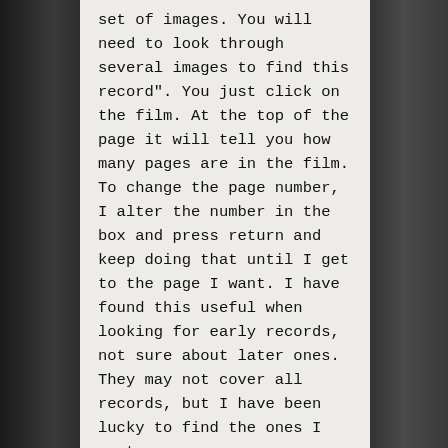set of images. You will need to look through several images to find this record". You just click on the film. At the top of the page it will tell you how many pages are in the film. To change the page number, I alter the number in the box and press return and keep doing that until I get to the page I want. I have found this useful when looking for early records, not sure about later ones. They may not cover all records, but I have been lucky to find the ones I want.
If it is Warwickshire parishes you are interested in, Warwickshire County Record Office have rescanned all their